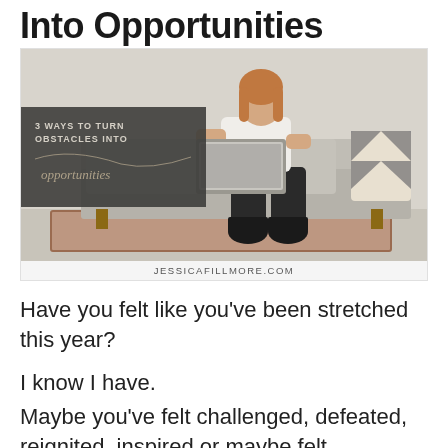Into Opportunities
[Figure (photo): Woman sitting on a grey couch using a laptop. Overlay text reads '3 WAYS TO TURN OBSTACLES INTO opportunities'. Caption: JESSICAFILLMORE.COM]
JESSICAFILLMORE.COM
Have you felt like you’ve been stretched this year?
I know I have.
Maybe you’ve felt challenged, defeated, reignited, inspired or maybe felt